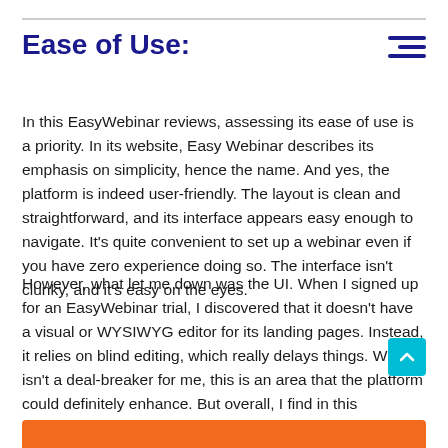Ease of Use:
In this EasyWebinar reviews, assessing its ease of use is a priority. In its website, Easy Webinar describes its emphasis on simplicity, hence the name. And yes, the platform is indeed user-friendly. The layout is clean and straightforward, and its interface appears easy enough to navigate. It's quite convenient to set up a webinar even if you have zero experience doing so. The interface isn't clunky, and it's easy on the eyes.
However, what let me down was the UI. When I signed up for an EasyWebinar trial, I discovered that it doesn't have a visual or WYSIWYG editor for its landing pages. Instead, it relies on blind editing, which really delays things. While it isn't a deal-breaker for me, this is an area that the platform could definitely enhance. But overall, I find in this EasyWebinar reviews that the software is still user-friendly.